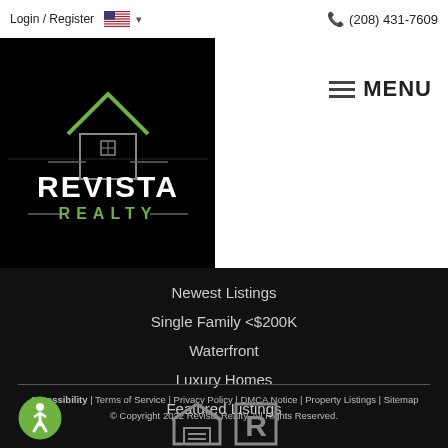Login / Register   (208) 431-7609
[Figure (logo): Revista Realty logo — white house outline with green roof peak on black background, text REVISTA in white bold and REALTY in green]
MENU
Newest Listings
Single Family <$200K
Waterfront
Luxury Homes
Featured Listings
Accessibility  |  Terms of Service  |  Privacy Policy  |  DMCA Notice  |  Property Listings  |  Sitemap
© Copyright 2022 Revista Realty. All Rights Reserved.
[Figure (logo): Accessibility icon — wheelchair user in a green circle]
[Figure (logo): Equal Housing Opportunity and Realtor logos in white]